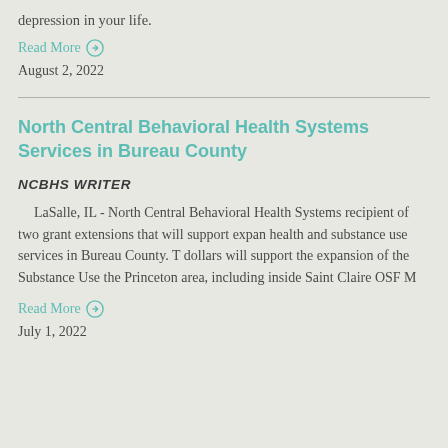depression in your life.
Read More →
August 2, 2022
North Central Behavioral Health Systems Services in Bureau County
NCBHS WRITER
LaSalle, IL - North Central Behavioral Health Systems recipient of two grant extensions that will support expansion health and substance use services in Bureau County. The dollars will support the expansion of the Substance Use the Princeton area, including inside Saint Claire OSF M
Read More →
July 1, 2022